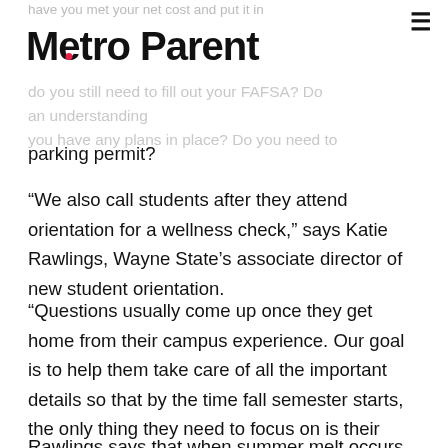Metro Parent
parking permit?
“We also call students after they attend orientation for a wellness check,” says Katie Rawlings, Wayne State’s associate director of new student orientation.
“Questions usually come up once they get home from their campus experience. Our goal is to help them take care of all the important details so that by the time fall semester starts, the only thing they need to focus on is their classes.”
Rawlings says that when summer melt occurs and students decide not to return to campus in the fall, she hears a range